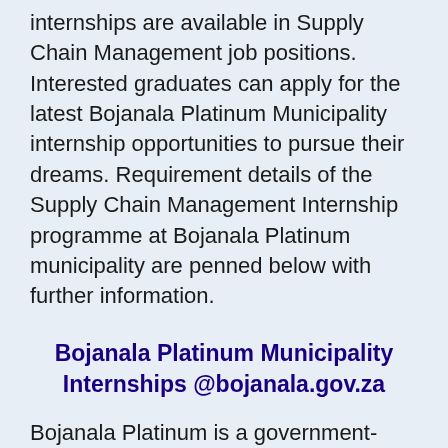internships are available in Supply Chain Management job positions. Interested graduates can apply for the latest Bojanala Platinum Municipality internship opportunities to pursue their dreams. Requirement details of the Supply Chain Management Internship programme at Bojanala Platinum municipality are penned below with further information.
Bojanala Platinum Municipality Internships @bojanala.gov.za
Bojanala Platinum is a government-associated Municipality department responsible for developing and managing the local region. Internship Opportunities at Bojanala Platinum District municipality are being released constantly for different